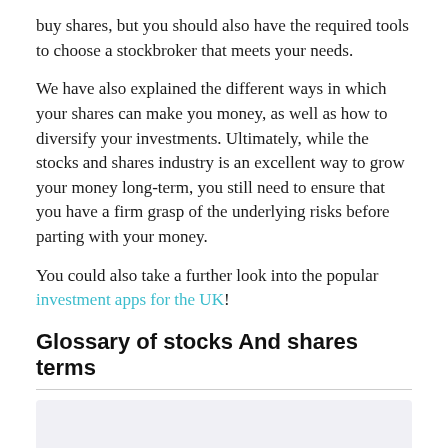buy shares, but you should also have the required tools to choose a stockbroker that meets your needs.
We have also explained the different ways in which your shares can make you money, as well as how to diversify your investments. Ultimately, while the stocks and shares industry is an excellent way to grow your money long-term, you still need to ensure that you have a firm grasp of the underlying risks before parting with your money.
You could also take a further look into the popular investment apps for the UK!
Glossary of stocks And shares terms
| Stock |
| --- |